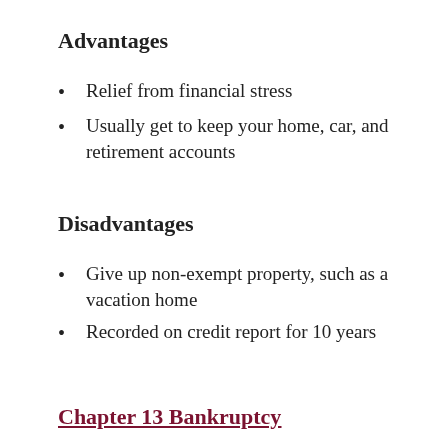Advantages
Relief from financial stress
Usually get to keep your home, car, and retirement accounts
Disadvantages
Give up non-exempt property, such as a vacation home
Recorded on credit report for 10 years
Chapter 13 Bankruptcy